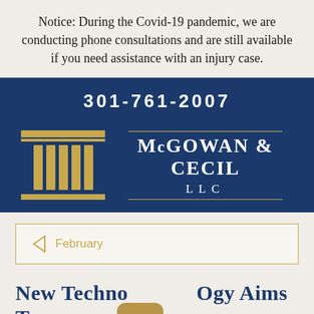Notice: During the Covid-19 pandemic, we are conducting phone consultations and are still available if you need assistance with an injury case.
301-761-2007
[Figure (logo): McGowan & Cecil LLC law firm logo with golden column icon and firm name in white text on dark blue background]
February
New Technology Aims to Curb Distracted Driving